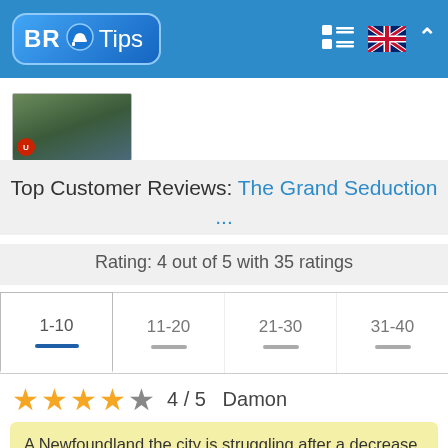BR Tips
[Figure (photo): Thumbnail image of a movie cover for The Grand Seduction]
Top Customer Reviews: The Grand Seduction ...
Rating: 4 out of 5 with 35 ratings
1-10  11-20  21-30  31-40
4 / 5  Damon
A Newfoundland the city is struggling after a decrease of an industry partorisca fish in a region and the majority of some remaining residents is